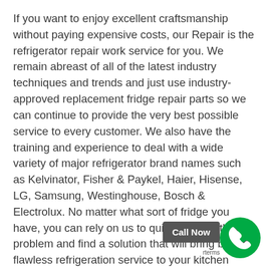If you want to enjoy excellent craftsmanship without paying expensive costs, our Repair is the refrigerator repair work service for you. We remain abreast of all of the latest industry techniques and trends and just use industry-approved replacement fridge repair parts so we can continue to provide the very best possible service to every customer. We also have the training and experience to deal with a wide variety of major refrigerator brand names such as Kelvinator, Fisher & Paykel, Haier, Hisense, LG, Samsung, Westinghouse, Bosch & Electrolux. No matter what sort of fridge you have, you can rely on us to quickly detect the problem and find a solution that will bring back flawless refrigeration service to your kitchen area.
Amateur refrigerator repair work typically wind up causing more damages, so discard that dusty old refrigerator repair manual and call our team today. You can expect nothing less than long-lasting outcomes and the professionalism from our refrigerator repair work service group. And with our totally free estimates, you have